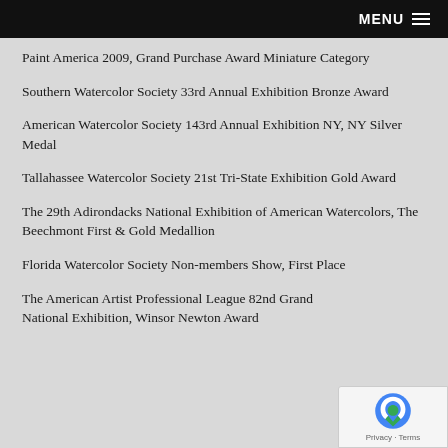MENU
Paint America 2009, Grand Purchase Award Miniature Category
Southern Watercolor Society 33rd Annual Exhibition Bronze Award
American Watercolor Society 143rd Annual Exhibition NY, NY Silver Medal
Tallahassee Watercolor Society 21st Tri-State Exhibition Gold Award
The 29th Adirondacks National Exhibition of American Watercolors, The Beechmont First & Gold Medallion
Florida Watercolor Society Non-members Show, First Place
The American Artist Professional League 82nd Grand National Exhibition, Winsor Newton Award
[Figure (logo): reCAPTCHA badge with Privacy and Terms links]